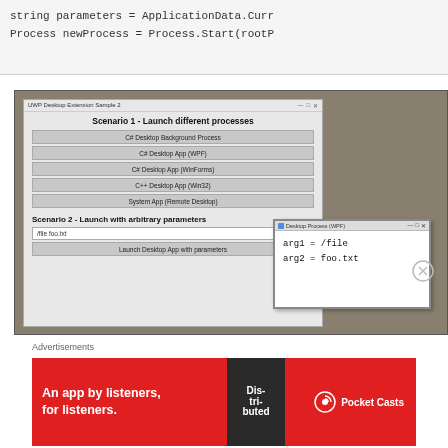[Figure (screenshot): Code snippet showing: string parameters = ApplicationData.Curr... and Process newProcess = Process.Start(rootP...]
[Figure (screenshot): UWP Desktop Extension Sample 2 window showing Scenario 1 - Launch different processes (buttons: C# Desktop Background Process, C# Desktop App (WPF), C# Desktop App (WinForms), C++ Desktop App (Win32), System App (Remote Desktop)) and Scenario 2 - Launch with arbitrary parameters (input: /file foo.txt, button: Launch Desktop App with parameters). Overlapping Desktop Process (WPF) window showing arg1 = /file and arg2 = foo.txt.]
Advertisements
[Figure (illustration): Red advertisement banner: 'An app by listeners, for listeners.' with phone image showing 'Dis tri buted' text and Pocket Casts logo.]